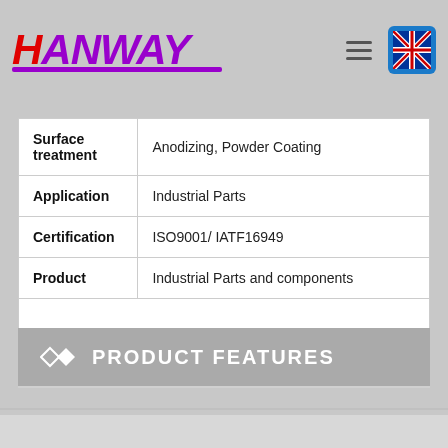HANWAY
| Surface treatment | Anodizing, Powder Coating |
| Application | Industrial Parts |
| Certification | ISO9001/ IATF16949 |
| Product | Industrial Parts and components |
PRODUCT FEATURES